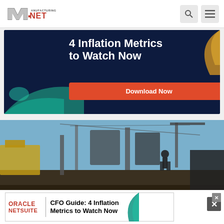Manufacturing.NET website header with logo and navigation icons (search, menu)
[Figure (infographic): Advertisement banner for Oracle NetSuite: '4 Inflation Metrics to Watch Now' with Download Now button on dark navy background with teal and orange decorative shapes]
[Figure (photo): Industrial oil field / drilling site photo showing heavy equipment, machinery, pipes in foreground, workers silhouetted against blue sky in background]
[Figure (infographic): Bottom overlay advertisement for Oracle NetSuite: 'CFO Guide: 4 Inflation Metrics to Watch Now' with Oracle NetSuite logo and teal accent shape, with close (X) button]